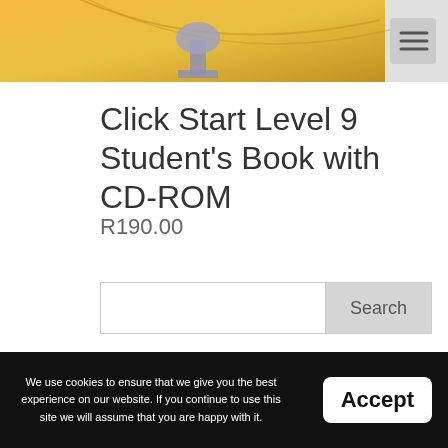[Figure (photo): Website header with golden/yellow gradient background showing a partial trophy/award image, with a hamburger menu icon in the top right corner]
Click Start Level 9 Student's Book with CD-ROM
R190.00
Search
Recent Posts
Reading is one of the most important aspects, to build their language skills.
We use cookies to ensure that we give you the best experience on our website. If you continue to use this site we will assume that you are happy with it.